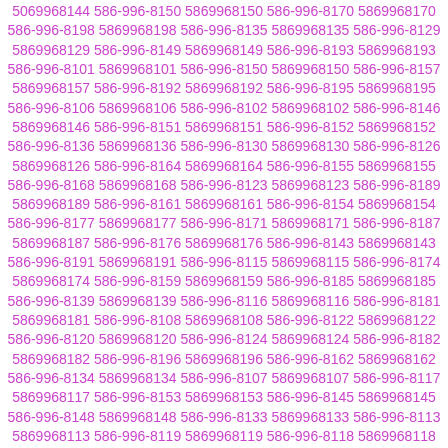5069968144 586-996-8150 5869968150 586-996-8170 5869968170 586-996-8198 5869968198 586-996-8135 5869968135 586-996-8129 5869968129 586-996-8149 5869968149 586-996-8193 5869968193 586-996-8101 5869968101 586-996-8150 5869968150 586-996-8157 5869968157 586-996-8192 5869968192 586-996-8195 5869968195 586-996-8106 5869968106 586-996-8102 5869968102 586-996-8146 5869968146 586-996-8151 5869968151 586-996-8152 5869968152 586-996-8136 5869968136 586-996-8130 5869968130 586-996-8126 5869968126 586-996-8164 5869968164 586-996-8155 5869968155 586-996-8168 5869968168 586-996-8123 5869968123 586-996-8189 5869968189 586-996-8161 5869968161 586-996-8154 5869968154 586-996-8177 5869968177 586-996-8171 5869968171 586-996-8187 5869968187 586-996-8176 5869968176 586-996-8143 5869968143 586-996-8191 5869968191 586-996-8115 5869968115 586-996-8174 5869968174 586-996-8159 5869968159 586-996-8185 5869968185 586-996-8139 5869968139 586-996-8116 5869968116 586-996-8181 5869968181 586-996-8108 5869968108 586-996-8122 5869968122 586-996-8120 5869968120 586-996-8124 5869968124 586-996-8182 5869968182 586-996-8196 5869968196 586-996-8162 5869968162 586-996-8134 5869968134 586-996-8107 5869968107 586-996-8117 5869968117 586-996-8153 5869968153 586-996-8145 5869968145 586-996-8148 5869968148 586-996-8133 5869968133 586-996-8113 5869968113 586-996-8119 5869968119 586-996-8118 5869968118 586-996-8178 5869968178 586-996-8199 5869968199 586-996-8147 5869968147 586-996-8105 5869968105 586-996-8183 5869968183 586-996-8121 5869968121 586-996-8122 5869968122